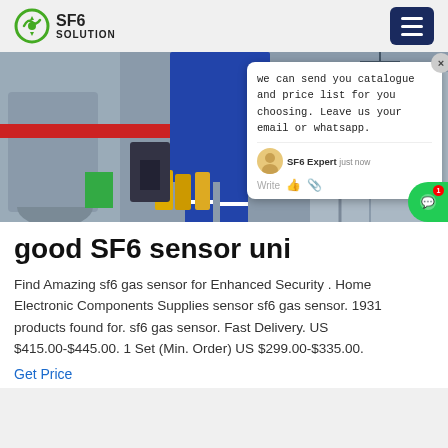SF6 SOLUTION
[Figure (photo): Worker in blue coveralls climbing industrial SF6 electrical equipment, outdoor substation in background]
[Figure (screenshot): Chat popup overlay saying: we can send you catalogue and price list for you choosing. Leave us your email or whatsapp. SF6 Expert just now. Write.]
good SF6 sensor uni...
Find Amazing sf6 gas sensor for Enhanced Security . Home Electronic Components Supplies sensor sf6 gas sensor. 1931 products found for. sf6 gas sensor. Fast Delivery. US $415.00-$445.00. 1 Set (Min. Order) US $299.00-$335.00.
Get Price